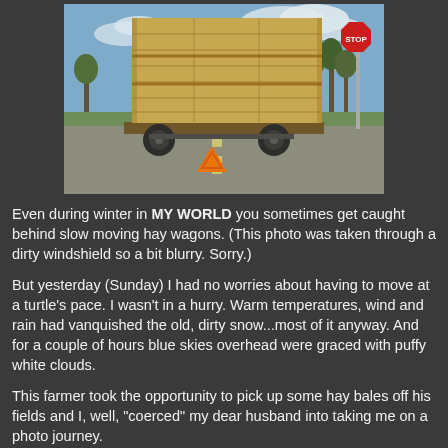[Figure (photo): A hay wagon loaded with large rectangular hay bales, viewed from behind on a road. A red stop sign is visible on the right side of the road. An orange triangular slow-moving vehicle marker is visible at the rear of the wagon. The sky has blue patches and clouds. The photo appears slightly blurry as if taken through a dirty windshield.]
Even during winter in MY WORLD you sometimes get caught behind slow moving hay wagons. (This photo was taken through a dirty windshield so a bit blurry. Sorry.)
But yesterday (Sunday) I had no worries about having to move at a turtle's pace. I wasn't in a hurry. Warm temperatures, wind and rain had vanquished the old, dirty snow...most of it anyway. And for a couple of hours blue skies overhead were graced with puffy white clouds.
This farmer took the opportunity to pick up some hay bales off his fields and I, well, "coerced" my dear husband into taking me on a photo journey.